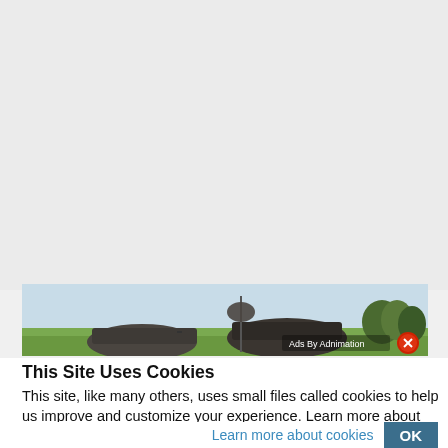[Figure (photo): A wide landscape banner advertisement showing military equipment (tanks or vehicles) in a green field against a light blue sky. The banner includes an 'Ads By Adnimation' label and a red close button in the bottom-right corner.]
This Site Uses Cookies
This site, like many others, uses small files called cookies to help us improve and customize your experience. Learn more about how we use cookies in our cookie policy.
Learn more about cookies
OK